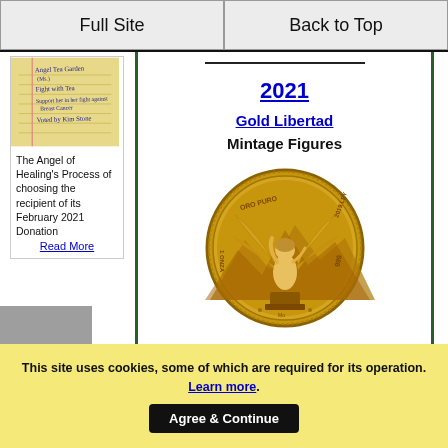Full Site | Back to Top
[Figure (photo): Handwritten notepad with cursive text]
The Angel of Healing's Process of choosing the recipient of its February 2021 Donation
Read More
2021
Gold Libertad
Mintage Figures
[Figure (photo): Gold Libertad coin showing angel with wings and ORO PURO text, 2019 LEY 999]
This site uses cookies, some of which are required for its operation. Learn more. Agree & Continue